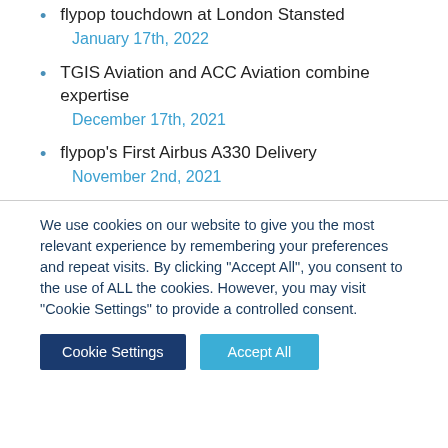flypop touchdown at London Stansted
January 17th, 2022
TGIS Aviation and ACC Aviation combine expertise
December 17th, 2021
flypop's First Airbus A330 Delivery
November 2nd, 2021
We use cookies on our website to give you the most relevant experience by remembering your preferences and repeat visits. By clicking "Accept All", you consent to the use of ALL the cookies. However, you may visit "Cookie Settings" to provide a controlled consent.